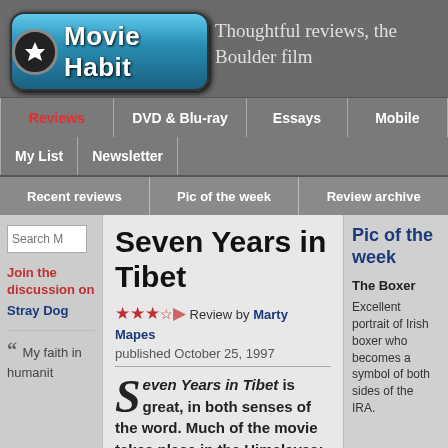Movie Habit — Thoughtful reviews, the Boulder film
Reviews | DVD & Blu-ray | Essays | Mobile | My List | Newsletter
Recent reviews | Pic of the week | Review archive
Seven Years in Tibet
★★★½ Review by Marty Mapes
published October 25, 1997
Seven Years in Tibet is great, in both senses of the word. Much of the movie takes place in the Himalayas; the setting
Join the discussion on
Stray Dog
““ My faith in humanity
Pic of the week
The Boxer
Excellent portrait of Irish boxer who becomes a symbol of both sides of the IRA.